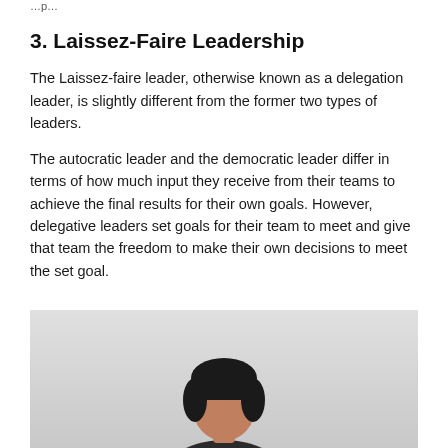…p…
3. Laissez-Faire Leadership
The Laissez-faire leader, otherwise known as a delegation leader, is slightly different from the former two types of leaders.
The autocratic leader and the democratic leader differ in terms of how much input they receive from their teams to achieve the final results for their own goals. However, delegative leaders set goals for their team to meet and give that team the freedom to make their own decisions to meet the set goal.
[Figure (photo): A person photographed against a light grey background, visible from roughly chest upward, with dark hair, bottom portion of image.]